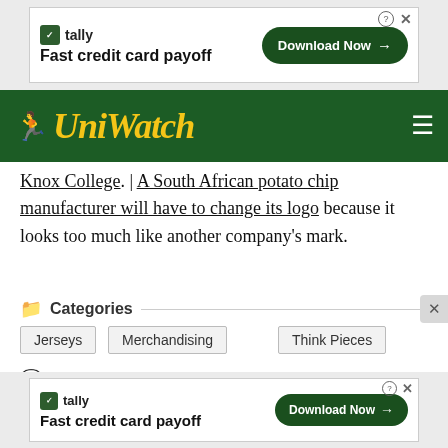[Figure (screenshot): Tally Fast credit card payoff advertisement banner at top]
[Figure (logo): UniWatch website logo with wing icon in gold italic text on dark green navigation bar]
Knox College. | A South African potato chip manufacturer will have to change its logo because it looks too much like another company's mark.
Categories
Jerseys
Merchandising
Think Pieces
Comments (157)
Dumb Guy
February 11, 2016 at 8:14 am
“Whoa, Wouldn
[Figure (screenshot): Tally Fast credit card payoff advertisement banner at bottom]